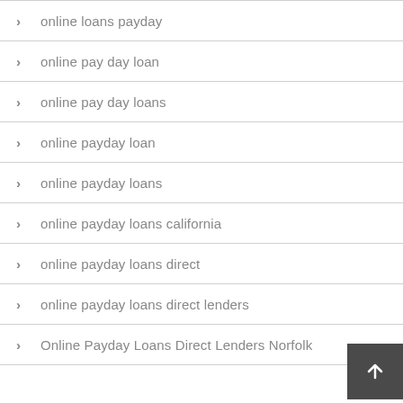online loans payday
online pay day loan
online pay day loans
online payday loan
online payday loans
online payday loans california
online payday loans direct
online payday loans direct lenders
Online Payday Loans Direct Lenders Norfolk